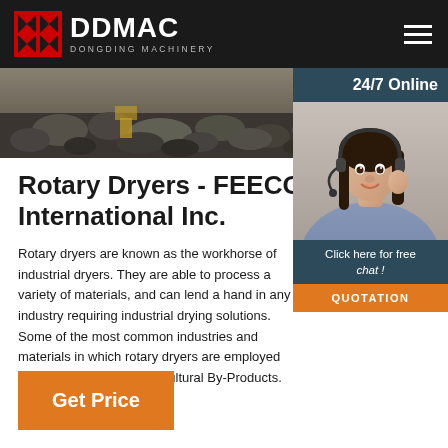DDMAC DONGDING MACHINERY
[Figure (photo): Banner photo of coal/aggregate rocks in industrial setting]
[Figure (photo): 24/7 Online customer service representative with headset, chat overlay and QUOTATION button]
Rotary Dryers - FEECO International Inc.
Rotary dryers are known as the workhorse of industrial dryers. They are able to process a variety of materials, and can lend a hand in any industry requiring industrial drying solutions. Some of the most common industries and materials in which rotary dryers are employed include: Aggregates. Agricultural By-Products.
Get Price